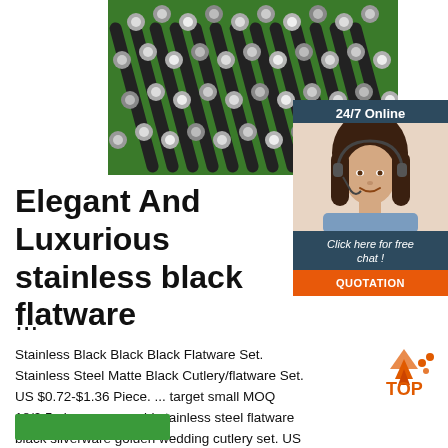[Figure (photo): Close-up photo of stainless steel flatware/cutlery rods lined up on a green background, showing metallic round ends]
[Figure (infographic): 24/7 Online chat widget with dark blue/teal background, woman customer service agent wearing headset, 'Click here for free chat!' text in italic, and orange 'QUOTATION' button]
Elegant And Luxurious stainless black flatware ...
Stainless Black Black Black Flatware Set. Stainless Steel Matte Black Cutlery/flatware Set. US $0.72-$1.36 Piece. ... target small MOQ 18/0 5 pieces rose gold stainless steel flatware black silverware golden wedding cutlery set. US $2.03-$2.88 Set. 8 Sets ...
[Figure (logo): TOP logo with orange/red arrows pointing up and text 'TOP' in orange]